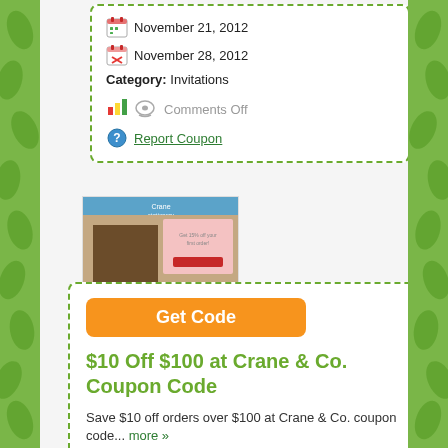November 21, 2012
November 28, 2012
Category: Invitations
Comments Off
Report Coupon
[Figure (screenshot): Screenshot thumbnail of Crane & Co. website]
Crane & Co.
Get Code
$10 Off $100 at Crane & Co. Coupon Code
Save $10 off orders over $100 at Crane & Co. coupon code... more »